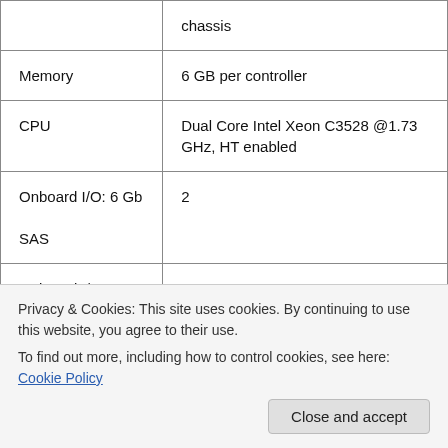| Specification | Value |
| --- | --- |
|  | chassis |
| Memory | 6 GB per controller |
| CPU | Dual Core Intel Xeon C3528 @1.73 GHz, HT enabled |
| Onboard I/O: 6 Gb SAS | 2 |
| Onboard I/O: 1 GbE | 4 |
|  |  |
Privacy & Cookies: This site uses cookies. By continuing to use this website, you agree to their use. To find out more, including how to control cookies, see here: Cookie Policy